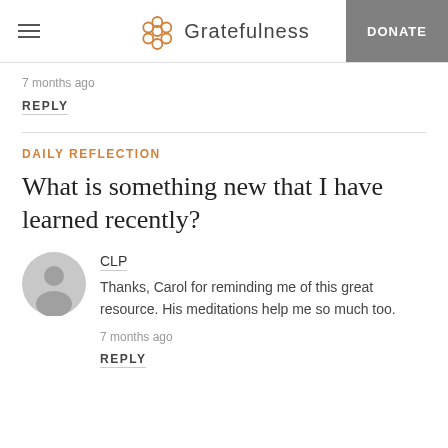Gratefulness | DONATE
7 months ago
REPLY
DAILY REFLECTION
What is something new that I have learned recently?
[Figure (illustration): Generic grey user avatar circle with person silhouette]
CLP
Thanks, Carol for reminding me of this great resource. His meditations help me so much too.
7 months ago
REPLY